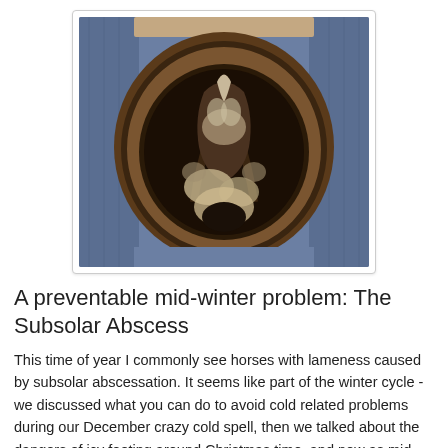[Figure (photo): Close-up photograph of the underside of a horse's hoof showing the sole, frog, and signs of abscess/infection. The hoof is being held between denim-clad legs. The sole shows dark discoloration and areas of separation or necrotic tissue consistent with a subsolar abscess.]
A preventable mid-winter problem: The Subsolar Abscess
This time of year I commonly see horses with lameness caused by subsolar abscessation. It seems like part of the winter cycle - we discussed what you can do to avoid cold related problems during our December crazy cold spell, then we talked about the dangers of icy footing around Christmas time, and now as mid-winter arrives the preventable problem of the season is the foot abscess.